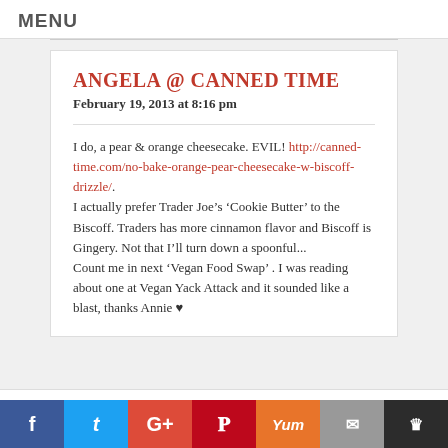MENU
ANGELA @ CANNED TIME
February 19, 2013 at 8:16 pm
I do, a pear & orange cheesecake. EVIL! http://canned-time.com/no-bake-orange-pear-cheesecake-w-biscoff-drizzle/.
I actually prefer Trader Joe’s ‘Cookie Butter’ to the Biscoff. Traders has more cinnamon flavor and Biscoff is Gingery. Not that I’ll turn down a spoonful...
Count me in next ‘Vegan Food Swap’ . I was reading about one at Vegan Yack Attack and it sounded like a blast, thanks Annie ♥
Social share buttons: Facebook, Twitter, Google+, Pinterest, Yum, Email, Crown